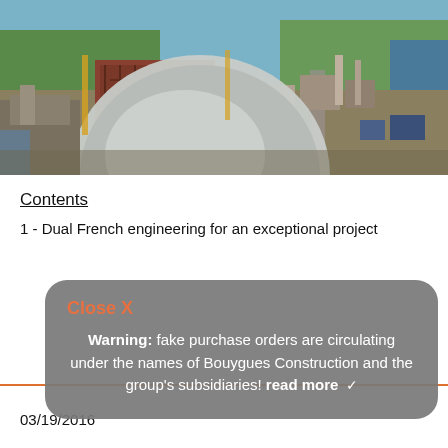[Figure (photo): Aerial view of the Chernobyl nuclear power plant with the large steel arch containment structure (New Safe Confinement) under construction over reactor 4, surrounded by industrial buildings and landscape.]
Contents
1 - Dual French engineering for an exceptional project
Close X
Warning: fake purchase orders are circulating under the names of Bouygues Construction and the group's subsidiaries! read more ✓
03/19/2016